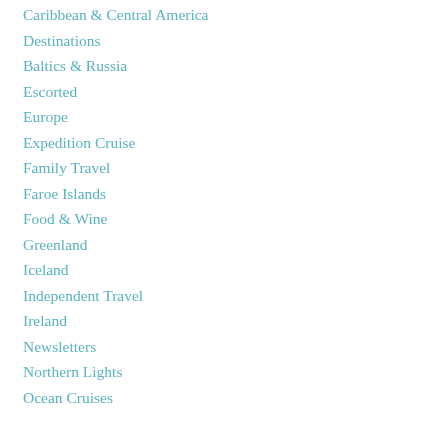Caribbean & Central America
Destinations
Baltics & Russia
Escorted
Europe
Expedition Cruise
Family Travel
Faroe Islands
Food & Wine
Greenland
Iceland
Independent Travel
Ireland
Newsletters
Northern Lights
Ocean Cruises